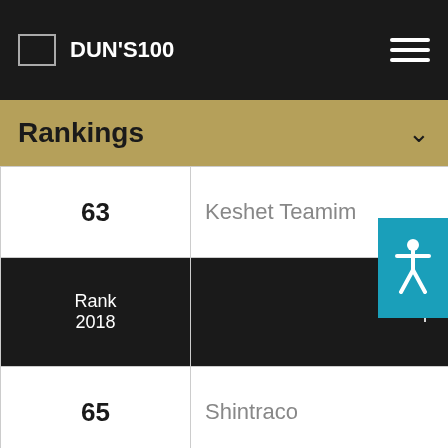Logo DUN'S100
Rankings
| Rank 2018 | Company |  |
| --- | --- | --- |
| 63 | Keshet Teamim |  |
| 65 | Shintraco |  |
| 66 | Amisragas |  |
| 67 | Eastronics |  |
| 68 | MasterFood |  |